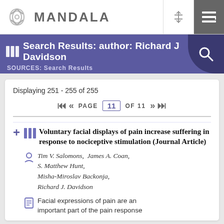MANDALA
Search Results: author: Richard J Davidson
SOURCES: Search Results
Displaying 251 - 255 of 255
PAGE 11 OF 11
Voluntary facial displays of pain increase suffering in response to nociceptive stimulation (Journal Article)
Tim V. Salomons,  James A. Coan,  S. Matthew Hunt,  Misha-Miroslav Backonja,  Richard J. Davidson
Facial expressions of pain are an important part of the pain response